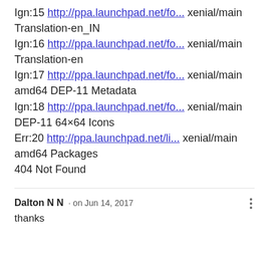Ign:15 http://ppa.launchpad.net/fo... xenial/main Translation-en_IN
Ign:16 http://ppa.launchpad.net/fo... xenial/main Translation-en
Ign:17 http://ppa.launchpad.net/fo... xenial/main amd64 DEP-11 Metadata
Ign:18 http://ppa.launchpad.net/fo... xenial/main DEP-11 64×64 Icons
Err:20 http://ppa.launchpad.net/li... xenial/main amd64 Packages 404 Not Found
Dalton N N · on Jun 14, 2017
thanks